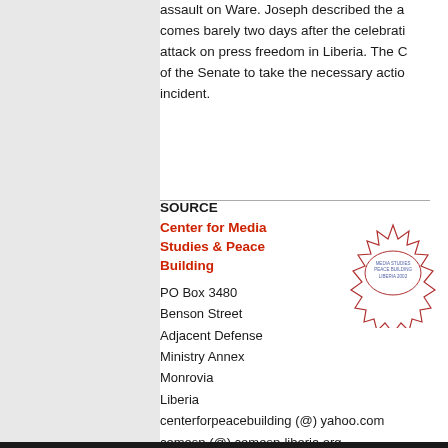assault on Ware. Joseph described the a... comes barely two days after the celebrati... attack on press freedom in Liberia. The C... of the Senate to take the necessary actio... incident.
SOURCE
Center for Media Studies & Peace Building
PO Box 3480
Benson Street
Adjacent Defense Ministry Annex
Monrovia
Liberia
centerforpeacebuilding (@) yahoo.com
cemesp (@) cemesp-liberia.org
Phone: +231 6 514 357
[Figure (logo): Circular starburst logo for Media Studies Peace Building Liberia organization, with spiky border and text in center]